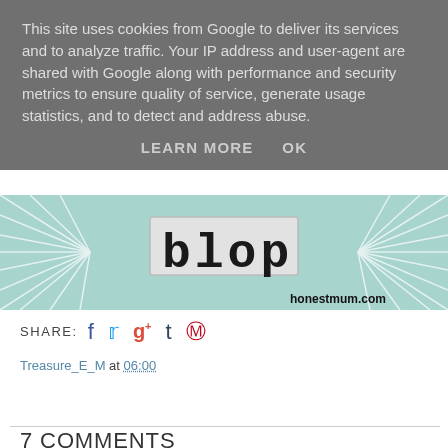This site uses cookies from Google to deliver its services and to analyze traffic. Your IP address and user-agent are shared with Google along with performance and security metrics to ensure quality of service, generate usage statistics, and to detect and address abuse.
LEARN MORE   OK
[Figure (illustration): Blog header image with teal/mint background, radiating white lines, and large bold letters 'b l o p' on a light gray license-plate-style rectangle. URL 'honestmum.com' in bottom right.]
SHARE:  f  t  g+  t  p
Treasure_E_M at 06:00
Share
7 COMMENTS
Anonymous  4 May 2016 at 09:54
Catch I see the store as well, shared and the blog was divine